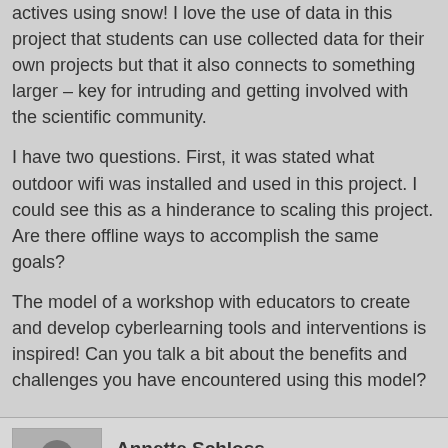actives using snow! I love the use of data in this project that students can use collected data for their own projects but that it also connects to something larger – key for intruding and getting involved with the scientific community.
I have two questions. First, it was stated what outdoor wifi was installed and used in this project. I could see this as a hinderance to scaling this project. Are there offline ways to accomplish the same goals?
The model of a workshop with educators to create and develop cyberlearning tools and interventions is inspired! Can you talk a bit about the benefits and challenges you have encountered using this model?
Annette Schloss
Lead Presenter
May 13, 2015 | 12:39 p.m.
Hi Beth,
our CIDER project explored ways to augment learning in outdoor educational settings with mobile technologies. Teachers and